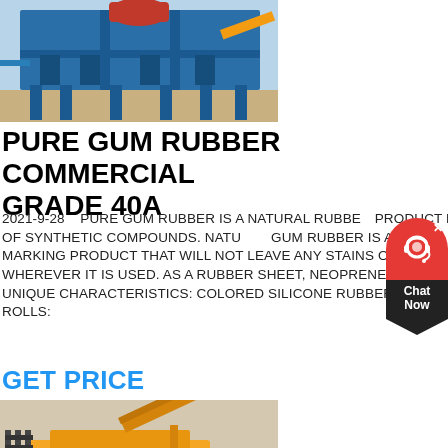[Figure (photo): Industrial machinery / crushing equipment with blue metal structure in a factory setting]
PURE GUM RUBBER COMMERCIAL GRADE 40A
2021-9-28    PURE GUM RUBBER IS A NATURAL RUBBER PRODUCT FREE OF SYNTHETIC COMPOUNDS. NATURAL GUM RUBBER IS A NON-MARKING PRODUCT THAT WILL NOT LEAVE ANY STAINS OR MARKS WHEREVER IT IS USED. AS A RUBBER SHEET, NEOPRENE OFFERS UNIQUE CHARACTERISTICS: COLORED SILICONE RUBBER SHEETS AND ROLLS:
GET PRICE
[Figure (photo): Yellow industrial equipment / mining or construction machine outdoors]